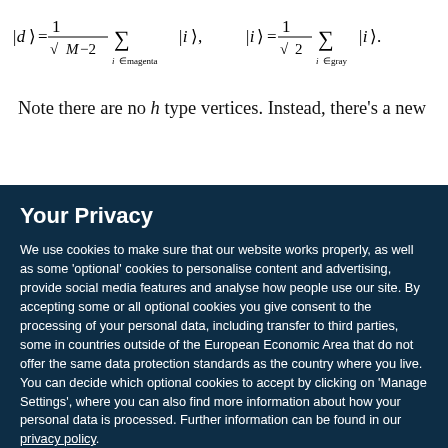Note there are no h type vertices. Instead, there's a new
Your Privacy
We use cookies to make sure that our website works properly, as well as some 'optional' cookies to personalise content and advertising, provide social media features and analyse how people use our site. By accepting some or all optional cookies you give consent to the processing of your personal data, including transfer to third parties, some in countries outside of the European Economic Area that do not offer the same data protection standards as the country where you live. You can decide which optional cookies to accept by clicking on 'Manage Settings', where you can also find more information about how your personal data is processed. Further information can be found in our privacy policy.